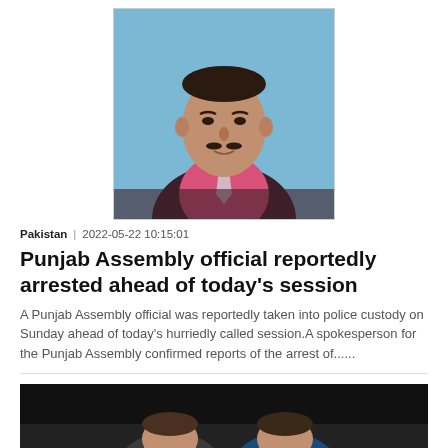[Figure (photo): Headshot of a man in a dark suit and pink shirt with a light tie, against a blue background]
Pakistan  |  2022-05-22 10:15:01
Punjab Assembly official reportedly arrested ahead of today's session
A Punjab Assembly official was reportedly taken into police custody on Sunday ahead of today's hurriedly called session.A spokesperson for the Punjab Assembly confirmed reports of the arrest of......
[Figure (photo): Two tennis players (appearing to be Rafael Nadal and Novak Djokovic) facing each other in a dark setting]